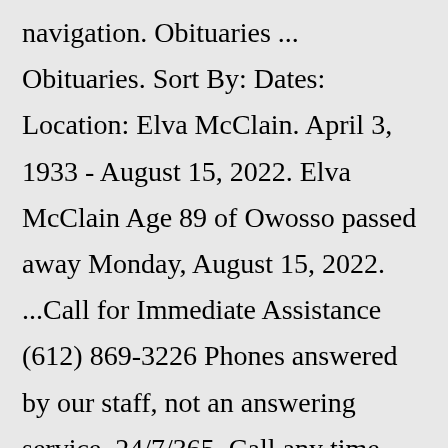navigation. Obituaries ... Obituaries. Sort By: Dates: Location: Elva McClain. April 3, 1933 - August 15, 2022. Elva McClain Age 89 of Owosso passed away Monday, August 15, 2022. ...Call for Immediate Assistance (612) 869-3226 Phones answered by our staff, not an answering service, 24/7/365. Call any time, day or night. A viewing will be held Thursday evening from 6:00-8:00 p.m. at Russon Mortuary, 295 North Main,